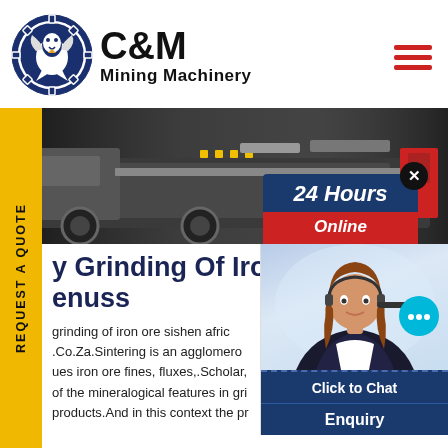[Figure (logo): C&M Mining Machinery logo with eagle in gear circle, dark blue, with company name]
[Figure (photo): Mining truck/machinery hero banner photo with LIMING HEAVY INDUSTRY watermark]
24 Hours Online
REQUEST A QUOTE
y Grinding Of Iron Ore enuss
grinding of iron ore sishen afric .Co.Za.Sintering is an agglomero ues iron ore fines, fluxes,.Scholar, of the mineralogical features in gri products.And in this context the pr
[Figure (photo): Customer service agent with headset, chat widget with 'Click to Chat' button]
Click to Chat
Enquiry